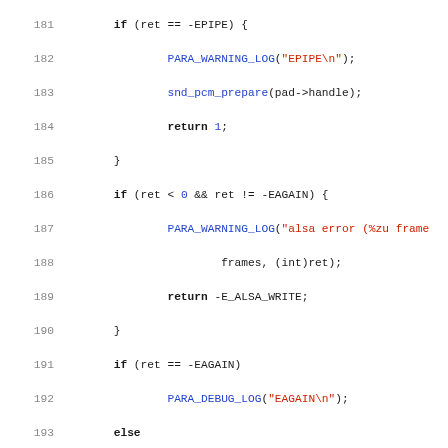[Figure (screenshot): Source code listing in C showing lines 181-212 of an ALSA audio write/close implementation. Lines include error handling for EPIPE and EAGAIN, writing data, and the alsa_close function.]